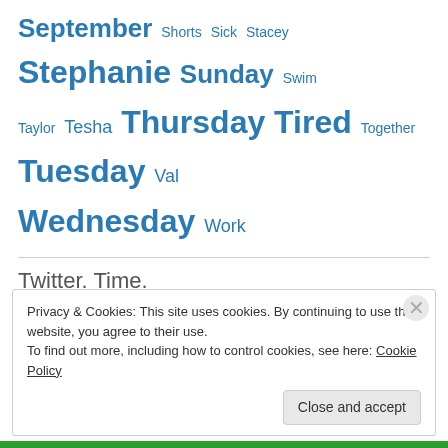September Shorts Sick Stacey Stephanie Sunday Swim Taylor Tesha Thursday Tired Together Tuesday Val Wednesday Work
Twitter. Time.
SXSW Film 2022 Screening Grid is here! bit.ly/3tBAEMO 5 months ago
If you're watching films using a SXSW Online Pass or just want to watch some online screenings in addition to your… twitter.com/i/web/status/1… 6 months ago
Privacy & Cookies: This site uses cookies. By continuing to use this website, you agree to their use. To find out more, including how to control cookies, see here: Cookie Policy